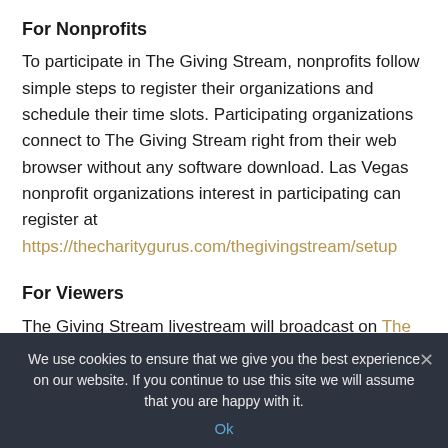For Nonprofits
To participate in The Giving Stream, nonprofits follow simple steps to register their organizations and schedule their time slots. Participating organizations connect to The Giving Stream right from their web browser without any software download. Las Vegas nonprofit organizations interest in participating can register at https://thecharitygurus.com/thegivingstream/setup
For Viewers
The Giving Stream livestream will broadcast on The Charity Gurus website, Facebook, YouTube, and will be simulcast on Facebook Live to all participating nonprofits pages. Tune in
We use cookies to ensure that we give you the best experience on our website. If you continue to use this site we will assume that you are happy with it.
Ok